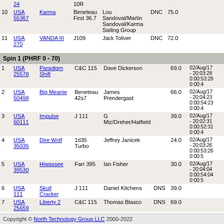| # | Sail | Boat | Class | Crew | R1 | Pts |
| --- | --- | --- | --- | --- | --- | --- |
|  | USA 24 |  | 10R |  |  |  |
| 10 | USA 55367 | Karma | Beneteau First 36.7 | Lou Sandoval/Martin Sandoval/Karma Sailing Group | DNC | 75.0 |
| 11 | USA 270 | VANDA III | J109 | Jack Toliver | DNC | 72.0 |
Spin 1 (PHRF 0 - 70)
| # | Sail | Boat | Class | Crew | R1 | Pts | Time |
| --- | --- | --- | --- | --- | --- | --- | --- |
| 1 | USA 25578 | Paradigm Shift | C&C 115 | Dave Dickerson |  | 69.0 | 02/Aug/17 - 20:03:28 0:00:53:28 0:00:4 |
| 2 | USA 50498 | Big Meanie | Beneteau 42s7 | James Prendergast |  | 66.0 | 02/Aug/17 - 20:04:23 0:00:54:23 0:00:4 |
| 3 | USA 60111 | Impulse | J 111 | G Miz/Dreher/Hatfield |  | 39.0 | 02/Aug/17 - 20:02:31 0:00:52:31 0:00:4 |
| 4 | USA 35035 | Dire Wolf | 1d35 Turbo | Jeffrey Janicek |  | 24.0 | 02/Aug/17 - 20:03:26 0:00:53:26 0:00:5 |
| 5 | USA 39530 | Hiwassee | Farr 395 | Ian Fisher |  | 30.0 | 02/Aug/17 - 20:04:04 0:00:54:04 0:000:5 |
| 6 | USA 111 | Skull Cracker | J 111 | Daniel Kitchens | DNS | 39.0 |  |
| 7 | USA 25659 | Liberty 2 | C&C 115 | Thomas Blasco | DNS | 69.0 |  |
| 8 | USA 35004 | Heartbreaker | 1D35 | Eric Oesterle | DNS | 27.0 |  |
Back to previous page
Main Menu
Copyright © North Technology Group LLC 2000-2022